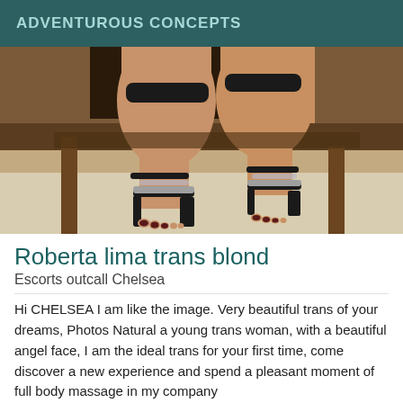ADVENTUROUS CONCEPTS
[Figure (photo): Close-up photo of legs wearing black strappy high-heeled sandals with rhinestone toe straps, sitting on what appears to be a wooden bench or furniture, carpet visible below.]
Roberta lima trans blond
Escorts outcall Chelsea
Hi CHELSEA I am like the image. Very beautiful trans of your dreams, ⁠Photos Natural a young trans woman, with a beautiful angel face, I am the ideal trans for your first time, come discover a new experience and spend a pleasant moment of full body massage in my company